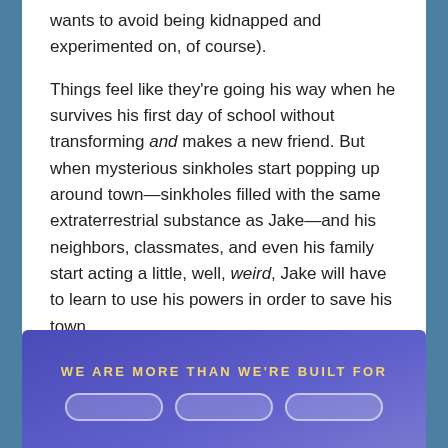wants to avoid being kidnapped and experimented on, of course).
Things feel like they're going his way when he survives his first day of school without transforming and makes a new friend. But when mysterious sinkholes start popping up around town—sinkholes filled with the same extraterrestrial substance as Jake—and his neighbors, classmates, and even his family start acting a little, well, weird, Jake will have to learn to use his powers in order to save his town.
READ MORE
[Figure (illustration): Purple/blue promotional card with yellow text reading 'WE ARE MORE THAN WE'RE BUILT FOR' and three rounded button outlines below.]